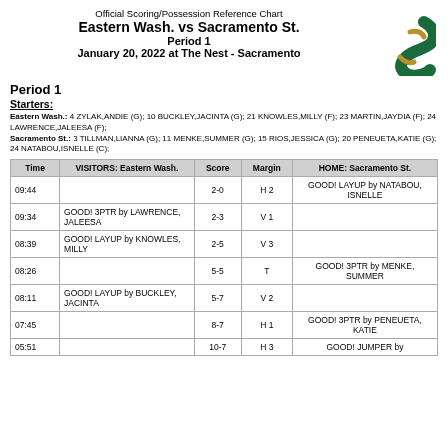Official Scoring/Possession Reference Chart
Eastern Wash. vs Sacramento St.
Period 1
January 20, 2022 at The Nest - Sacramento
Period 1
Starters:
Eastern Wash.: 4 ZYLAK,ANDIE (G); 10 BUCKLEY,JACINTA (G); 21 KNOWLES,MILLY (F); 23 MARTIN,JAYDIA (F); 24 LAWRENCE,JALEESA (F);
Sacramento St.: 3 TILLMAN,LIANNA (G); 11 MENKE,SUMMER (G); 15 RIOS,JESSICA (G); 20 PENEUETA,KATIE (G); 24 NATABOU,ISNELLE (C);
| Time | VISITORS: Eastern Wash. | Score | Margin | HOME: Sacramento St. |
| --- | --- | --- | --- | --- |
| 09:44 |  | 2-0 | H 2 | GOOD! LAYUP by NATABOU, ISNELLE |
| 09:34 | GOOD! 3PTR by LAWRENCE, JALEESA | 2-3 | V 1 |  |
| 08:39 | GOOD! LAYUP by KNOWLES, MILLY | 2-5 | V 3 |  |
| 08:26 |  | 5-5 | T | GOOD! 3PTR by MENKE, SUMMER |
| 08:11 | GOOD! LAYUP by BUCKLEY, JACINTA | 5-7 | V 2 |  |
| 07:45 |  | 8-7 | H 1 | GOOD! 3PTR by PENEUETA, KATIE |
| 05:51 |  | 10-7 | H 3 | GOOD! JUMPER by |